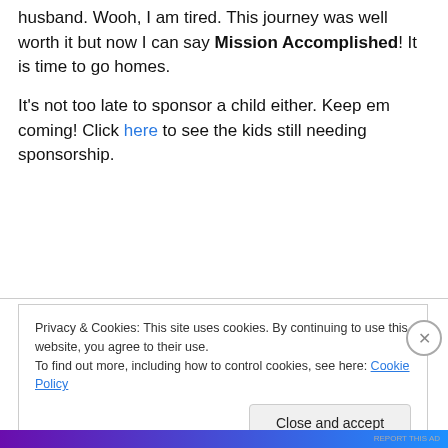husband. Wooh, I am tired. This journey was well worth it but now I can say Mission Accomplished! It is time to go homes.
It's not too late to sponsor a child either. Keep em coming! Click here to see the kids still needing sponsorship.
Privacy & Cookies: This site uses cookies. By continuing to use this website, you agree to their use.
To find out more, including how to control cookies, see here: Cookie Policy